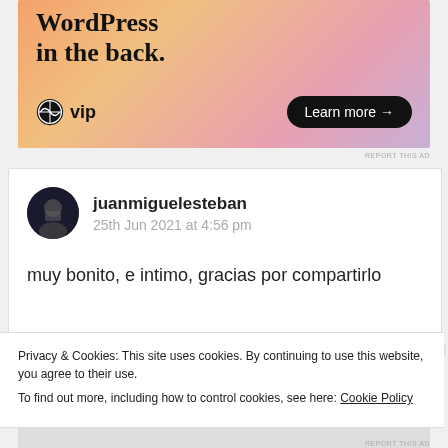[Figure (illustration): WordPress VIP advertisement banner with gradient orange/pink/purple background. Text reads 'WordPress in the back.' with WordPress VIP logo and 'Learn more →' button.]
REPORT THIS AD
juanmiguelesteban
25th Jun 2021 at 4:56 pm
muy bonito, e intimo, gracias por compartirlo
Privacy & Cookies: This site uses cookies. By continuing to use this website, you agree to their use.
To find out more, including how to control cookies, see here: Cookie Policy
Close and accept